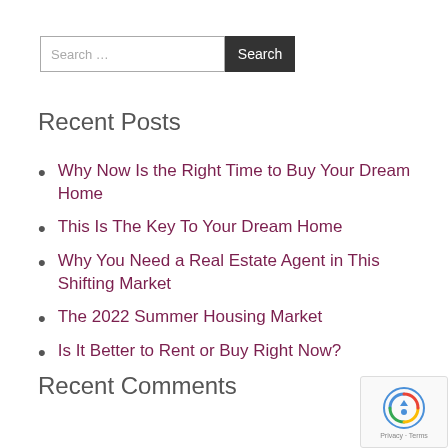Search ...
Recent Posts
Why Now Is the Right Time to Buy Your Dream Home
This Is The Key To Your Dream Home
Why You Need a Real Estate Agent in This Shifting Market
The 2022 Summer Housing Market
Is It Better to Rent or Buy Right Now?
Recent Comments